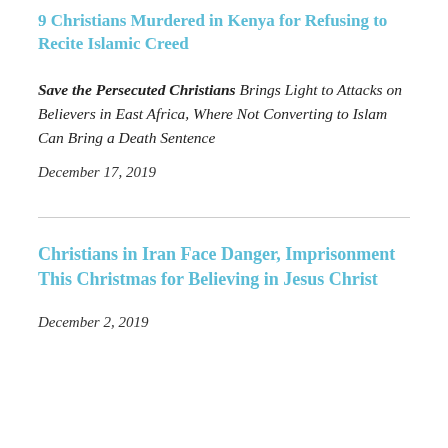9 Christians Murdered in Kenya for Refusing to Recite Islamic Creed
Save the Persecuted Christians Brings Light to Attacks on Believers in East Africa, Where Not Converting to Islam Can Bring a Death Sentence
December 17, 2019
Christians in Iran Face Danger, Imprisonment This Christmas for Believing in Jesus Christ
December 2, 2019